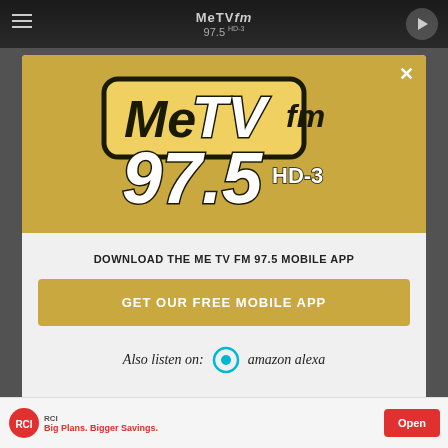[Figure (screenshot): MeTV FM 97.5 website top navigation bar with hamburger menu, station logo, and play button on dark background]
[Figure (logo): MeTV FM 97.5 HD-3 logo on gold background — large modal popup logo with black and white lettering]
DOWNLOAD THE ME TV FM 97.5 MOBILE APP
GET OUR FREE MOBILE APP
Also listen on: amazon alexa
[Figure (infographic): RCI advertisement banner: RCI logo with red circle, text 'Big Plans. Bigger Savings.' and Open button]